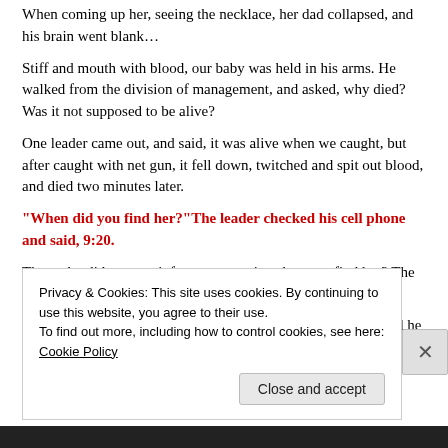When coming up her, seeing the necklace, her dad collapsed, and his brain went blank…
Stiff and mouth with blood, our baby was held in his arms. He walked from the division of management, and asked, why died? Was it not supposed to be alive?
One leader came out, and said, it was alive when we caught, but after caught with net gun, it fell down, twitched and spit out blood, and died two minutes later.
"When did you find her?"The leader checked his cell phone and said, 9:20.
Then why did you not inform us to assist when you find her? The leader replied nothing.
Later, he called the worker who caught her, and the worker said he really
Privacy & Cookies: This site uses cookies. By continuing to use this website, you agree to their use.
To find out more, including how to control cookies, see here: Cookie Policy